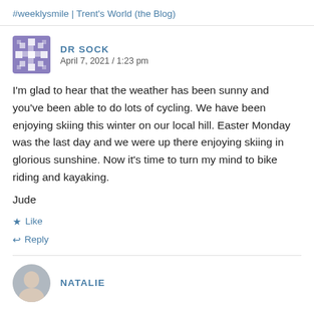#weeklysmile | Trent's World (the Blog)
DR SOCK
April 7, 2021 / 1:23 pm
I'm glad to hear that the weather has been sunny and you've been able to do lots of cycling. We have been enjoying skiing this winter on our local hill. Easter Monday was the last day and we were up there enjoying skiing in glorious sunshine. Now it's time to turn my mind to bike riding and kayaking.
Jude
★ Like
↩ Reply
NATALIE